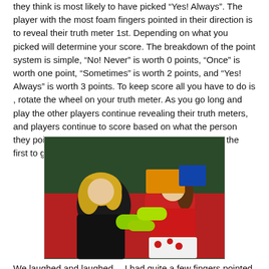they think is most likely to have picked "Yes! Always". The player with the most foam fingers pointed in their direction is to reveal their truth meter 1st. Depending on what you picked will determine your score. The breakdown of the point system is simple, "No! Never" is worth 0 points, "Once" is worth one point, "Sometimes" is worth 2 points, and "Yes! Always" is worth 3 points. To keep score all you have to do is , rotate the wheel on your truth meter. As you go long and play the other players continue revealing their truth meters, and players continue to score based on what the person they pointed at chose. To win all you have to do is be the first to get 21 points then you are the winner!
[Figure (photo): Two young girls sitting at a table covered with a red cloth, playing a board game with green foam finger pieces. The girl on the left has blonde hair and wears a black top; the girl on the right wears a red top and has brown hair pulled back. The background shows a dark green wall.]
We laughed and laughed… I had quite a few fingers pointed at me! I learned a few funny things, including, my daughter and my niece have